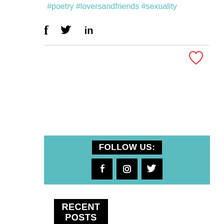#poetry #loversandfriends #sexuality
[Figure (infographic): Share icons: Facebook (f), Twitter (bird), LinkedIn (in)]
[Figure (infographic): Heart/like icon in red outline]
[Figure (infographic): Follow Us section on teal background with Facebook, Instagram, and Twitter icon buttons]
RECENT POSTS